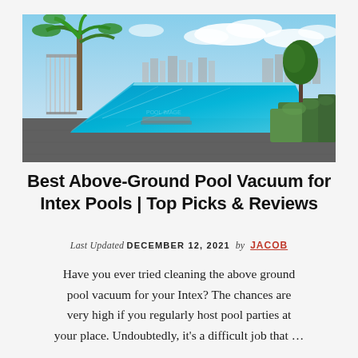[Figure (photo): Aerial view of a long infinity pool on a rooftop with palm trees, green hedges, and a city skyline in the background under a partly cloudy sky.]
Best Above-Ground Pool Vacuum for Intex Pools | Top Picks & Reviews
Last Updated DECEMBER 12, 2021 by JACOB
Have you ever tried cleaning the above ground pool vacuum for your Intex? The chances are very high if you regularly host pool parties at your place. Undoubtedly, it's a difficult job that …